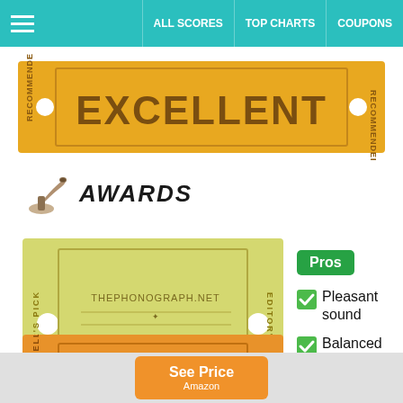ALL SCORES | TOP CHARTS | COUPONS
[Figure (illustration): Yellow ticket stamp reading EXCELLENT with RECOMMENDED on side]
AWARDS
[Figure (illustration): Yellow-green ticket: THEPHONOGRAPH.NET EDITOR'S PICK with EDITOR'S PICK on sides]
Pleasant sound
Balanced sound signature
Clean bass
[Figure (illustration): Orange ticket: THEPHONOGRAPH.NET TOP with NOISE CANCELLING on side]
See Price Amazon